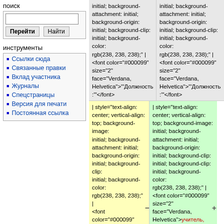поиск
Перейти | Найти
инструменты
Ссылки сюда
Связанные правки
Вклад участника
Журналы
Спецстраницы
Версия для печати
Постоянная ссылка
initial; background-attachment: initial; background-origin: initial; background-clip: initial; background-color: rgb(238, 238, 238);" | <font color="#000099" size="2" face="Verdana, Helvetica">"'Должность :'"</font>
initial; background-attachment: initial; background-origin: initial; background-clip: initial; background-color: rgb(238, 238, 238);" | <font color="#000099" size="2" face="Verdana, Helvetica">"'Должность :'"</font>
| style="text-align: center; vertical-align: top; background-image: initial; background-attachment: initial; background-origin: initial; background-clip: initial; background-color: rgb(238, 238, 238);" | <font color="#000099" size="2" face="Verdana, Helvetica">заместитель директора по учебно-воспитательной
| style="text-align: center; vertical-align: top; background-image: initial; background-attachment: initial; background-origin: initial; background-clip: initial; background-color: rgb(238, 238, 238);" | <font color="#000099" size="2" face="Verdana, Helvetica">учитель, заместитель